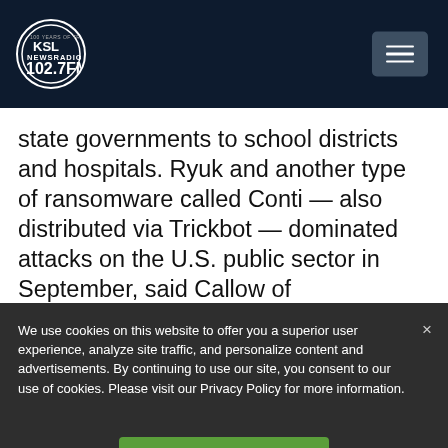KSL NewsRadio 102.7FM
state governments to school districts and hospitals. Ryuk and another type of ransomware called Conti — also distributed via Trickbot — dominated attacks on the U.S. public sector in September, said Callow of
We use cookies on this website to offer you a superior user experience, analyze site traffic, and personalize content and advertisements. By continuing to use our site, you consent to our use of cookies. Please visit our Privacy Policy for more information.
Accept Cookies